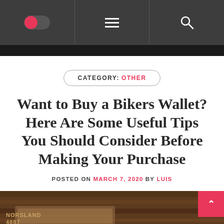Navigation bar with toggle, hamburger menu, and search icon
CATEGORY: OTHER
Want to Buy a Bikers Wallet? Here Are Some Useful Tips You Should Consider Before Making Your Purchase
POSTED ON MARCH 7, 2020 BY LUIS
[Figure (photo): Partial photo of leather wallets or biker accessories on a wooden surface, with text 'NORSLAND 4887' visible]